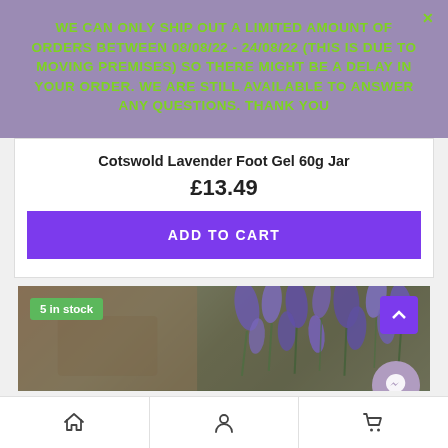WE CAN ONLY SHIP OUT A LIMITED AMOUNT OF ORDERS BETWEEN 08/08/22 - 24/08/22 (THIS IS DUE TO MOVING PREMISES) SO THERE MIGHT BE A DELAY IN YOUR ORDER. WE ARE STILL AVAILABLE TO ANSWER ANY QUESTIONS. THANK YOU
Cotswold Lavender Foot Gel 60g Jar
£13.49
ADD TO CART
[Figure (photo): Product image area showing lavender flowers with '5 in stock' badge and scroll-up button]